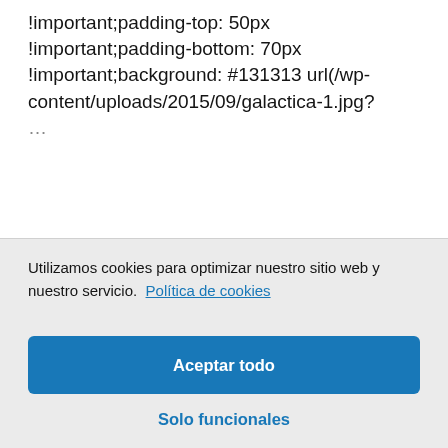!important;padding-top: 50px !important;padding-bottom: 70px !important;background: #131313 url(/wp-content/uploads/2015/09/galactica-1.jpg?...
Utilizamos cookies para optimizar nuestro sitio web y nuestro servicio.  Política de cookies
Aceptar todo
Solo funcionales
Ver preferencias